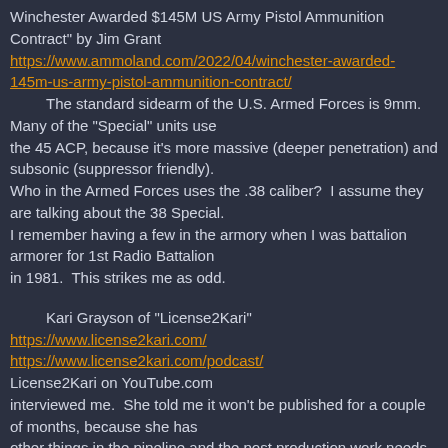Winchester Awarded $145M US Army Pistol Ammunition Contract" by Jim Grant
https://www.ammoland.com/2022/04/winchester-awarded-145m-us-army-pistol-ammunition-contract/
    The standard sidearm of the U.S. Armed Forces is 9mm. Many of the "Special" units use the 45 ACP, because it's more massive (deeper penetration) and subsonic (suppressor friendly).
Who in the Armed Forces uses the .38 caliber?  I assume they are talking about the 38 Special.
I remember having a few in the armory when I was battalion armorer for 1st Radio Battalion in 1981.  This strikes me as odd.
Kari Grayson of "License2Kari"
https://www.license2kari.com/
https://www.license2kari.com/podcast/
License2Kari on YouTube.com interviewed me.  She told me it won't be published for a couple of months, because she has other things in the pipeline and the post production work needs to be done.